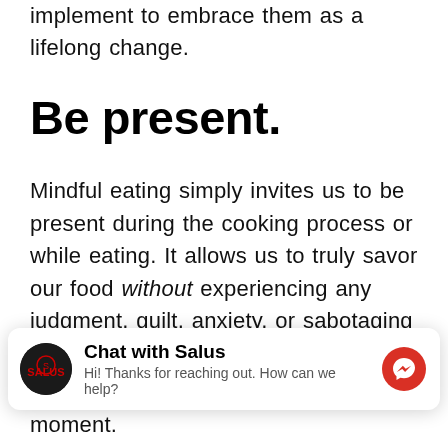implement to embrace them as a lifelong change.
Be present.
Mindful eating simply invites us to be present during the cooking process or while eating. It allows us to truly savor our food without experiencing any judgment, guilt, anxiety, or sabotaging inner self-talk. Here are some ideas to help you get started:
[Figure (screenshot): Chat widget overlay showing Salus chat with avatar, title 'Chat with Salus', subtitle 'Hi! Thanks for reaching out. How can we help?' and a red messenger icon]
moment.